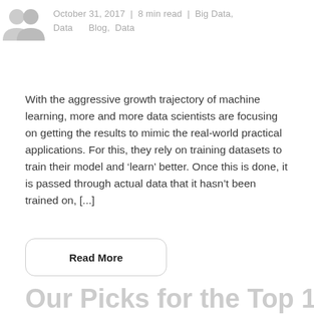October 31, 2017 | 8 min read | Big Data, Data    Blog, Data
With the aggressive growth trajectory of machine learning, more and more data scientists are focusing on getting the results to mimic the real-world practical applications. For this, they rely on training datasets to train their model and ‘learn’ better. Once this is done, it is passed through actual data that it hasn’t been trained on, [...]
Read More